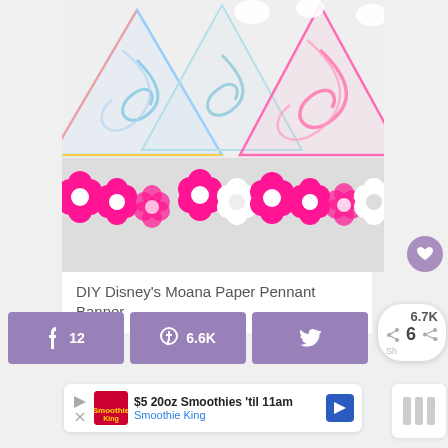[Figure (photo): DIY Disney's Moana Paper Pennant Banner craft image showing colorful swirly triangle pennants and pink flower decorations]
DIY Disney’s Moana Paper Pennant Banner
[Figure (infographic): Social share buttons: Facebook (12), Pinterest (6.6K), Twitter, and a share count bubble showing 6.7K total shares with 6 label]
[Figure (infographic): Advertisement: $5 20oz Smoothies 'til 11am - Smoothie King, with logo and navigation arrow]